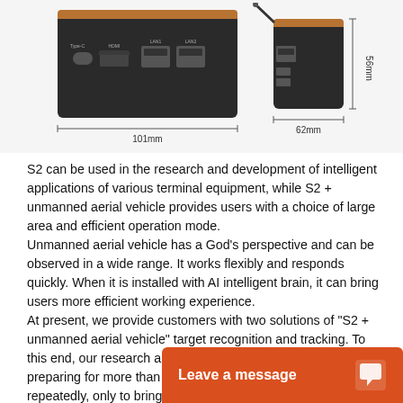[Figure (engineering-diagram): Two views of an S2 device/module showing ports and dimensions. Left view shows front/rear panel with USB-C, HDMI, and two RJ45 ports, width labeled 101mm. Right view shows side with antenna, RJ45, and USB ports, width labeled 62mm and height labeled 56mm.]
S2 can be used in the research and development of intelligent applications of various terminal equipment, while S2 + unmanned aerial vehicle provides users with a choice of large area and efficient operation mode.
Unmanned aerial vehicle has a God's perspective and can be observed in a wide range. It works flexibly and responds quickly. When it is installed with AI intelligent brain, it can bring users more efficient working experience.
At present, we provide customers with two solutions of “S2 + unmanned aerial vehicle” target recognition and tracking. To this end, our research and development personnel have been preparing for more than a year, testing and upgrading repeatedly, only to bring safety and reliability.